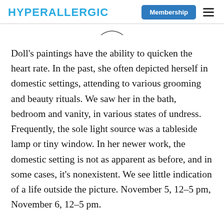HYPERALLERGIC  Membership
Doll's paintings have the ability to quicken the heart rate. In the past, she often depicted herself in domestic settings, attending to various grooming and beauty rituals. We saw her in the bath, bedroom and vanity, in various states of undress. Frequently, the sole light source was a tableside lamp or tiny window. In her newer work, the domestic setting is not as apparent as before, and in some cases, it's nonexistent. We see little indication of a life outside the picture. November 5, 12–5 pm, November 6, 12–5 pm.